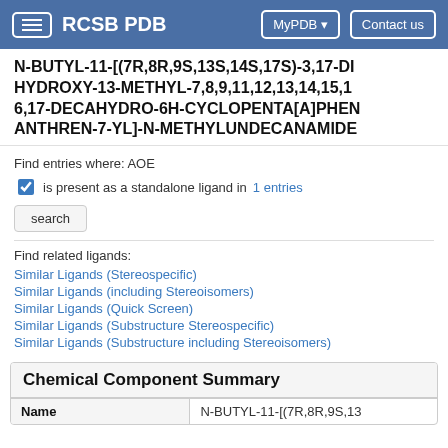RCSB PDB | MyPDB | Contact us
N-BUTYL-11-[(7R,8R,9S,13S,14S,17S)-3,17-DIHYDROXY-13-METHYL-7,8,9,11,12,13,14,15,16,17-DECAHYDRO-6H-CYCLOPENTA[A]PHENANTHREN-7-YL]-N-METHYLUNDECANAMIDE
Find entries where: AOE
is present as a standalone ligand in 1 entries
search
Find related ligands:
Similar Ligands (Stereospecific)
Similar Ligands (including Stereoisomers)
Similar Ligands (Quick Screen)
Similar Ligands (Substructure Stereospecific)
Similar Ligands (Substructure including Stereoisomers)
| Name |  |
| --- | --- |
| Name | N-BUTYL-11-[(7R,8R,9S,13 |